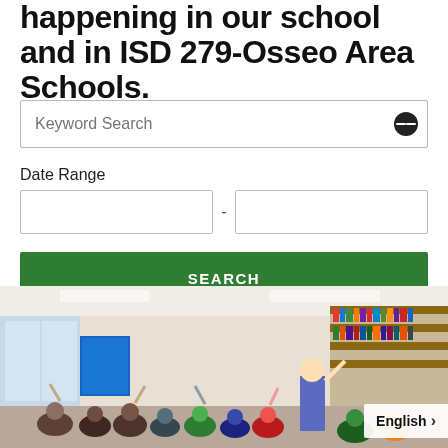happening in our school and in ISD 279-Osseo Area Schools.
Keyword Search
Date Range
SEARCH
[Figure (photo): Elementary school classroom scene with a teacher at the front and young children sitting on the floor with their hands raised.]
English >